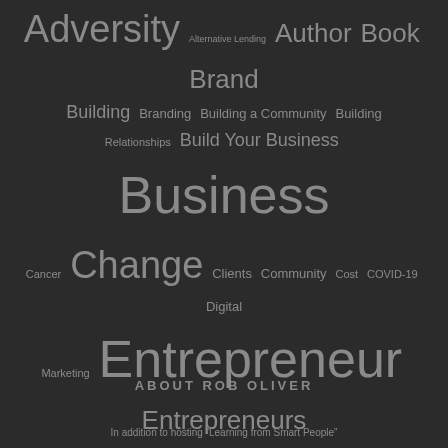[Figure (infographic): Tag cloud on dark background featuring business, entrepreneurship, and marketing related terms in varying font sizes indicating frequency/importance. Terms include: Adversity, Alternative Lending, Author, Book, Brand Building, Branding, Building a Community, Building Relationships, Build Your Business, Business, Cancer, Change, Clients, Community, Cost, COVID-19, Digital Marketing, Entrepreneur, Entrepreneurs, Free Giveaway, Grow Your Business, Leadership, Limited Budget, Marketing, Mindset, Networking, Online Reach, Pandemic, Passion, Podcast, Profit, Purpose, Relationships, Rob Oliver, Self Awareness, Self Concept, Small Business, Social Media, Starting a Business, Storytelling, Story Telling, Success, Team, Value, Writing]
ABOUT ROB OLIVER
In addition to hosting "Learning from Smart People"